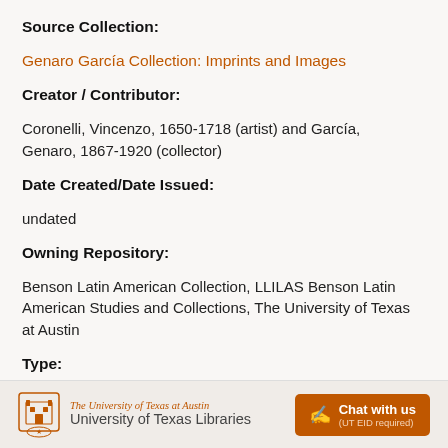Source Collection:
Genaro García Collection: Imprints and Images
Creator / Contributor:
Coronelli, Vincenzo, 1650-1718 (artist) and García, Genaro, 1867-1920 (collector)
Date Created/Date Issued:
undated
Owning Repository:
Benson Latin American Collection, LLILAS Benson Latin American Studies and Collections, The University of Texas at Austin
Type:
still image
The University of Texas at Austin University of Texas Libraries | Chat with us (UT EID required)